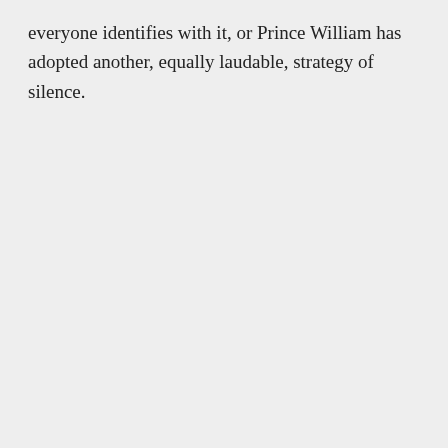everyone identifies with it, or Prince William has adopted another, equally laudable, strategy of silence.